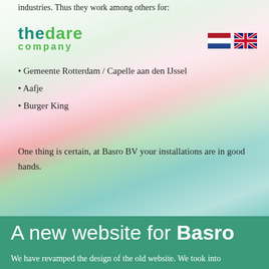industries. Thus they work among others for:
[Figure (logo): The Dare Company logo in teal and green text]
[Figure (illustration): Dutch flag and UK flag icons]
Gemeente Rotterdam / Capelle aan den IJssel
Aafje
Burger King
One thing is certain, at Basro BV your installations are in good hands.
[Figure (photo): Abstract blurred background with curved green and red/pink ribbons]
A new website for Basro
We have revamped the design of the old website. We took into